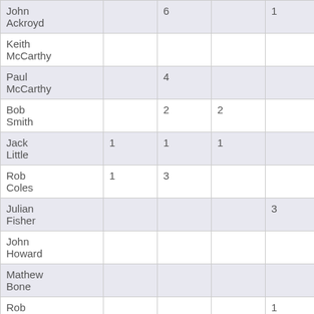| John Ackroyd |  | 6 |  | 1 |  |  |
| Keith McCarthy |  |  |  |  | 3 |  |
| Paul McCarthy |  | 4 |  |  | 1 |  |
| Bob Smith |  | 2 | 2 |  |  |  |
| Jack Little | 1 | 1 | 1 |  | 1 |  |
| Rob Coles | 1 | 3 |  |  |  |  |
| Julian Fisher |  |  |  | 3 |  |  |
| John Howard |  |  |  |  |  |  |
| Mathew Bone |  |  |  |  |  |  |
| Rob Smith |  |  |  | 1 |  |  |
| David |  |  |  | 2 |  |  |